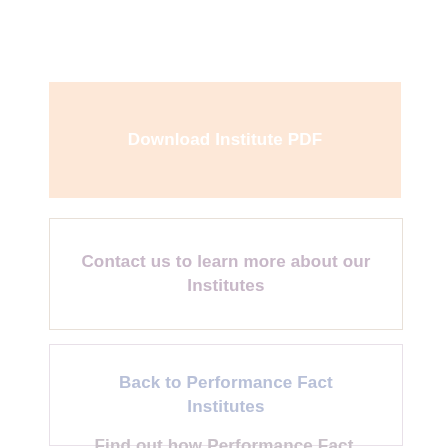Download Institute PDF
Contact us to learn more about our Institutes
Back to Performance Fact Institutes
Find out how Performance Fact